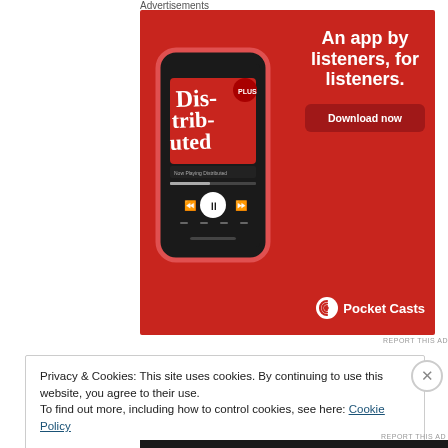Advertisements
[Figure (illustration): Pocket Casts app advertisement on red background. Shows a smartphone displaying the 'Distributed' podcast app interface. Text reads: 'An app by listeners, for listeners.' with a 'Download now' button and the Pocket Casts logo at the bottom.]
REPORT THIS AD
Privacy & Cookies: This site uses cookies. By continuing to use this website, you agree to their use.
To find out more, including how to control cookies, see here: Cookie Policy
Close and accept
REPORT THIS AD